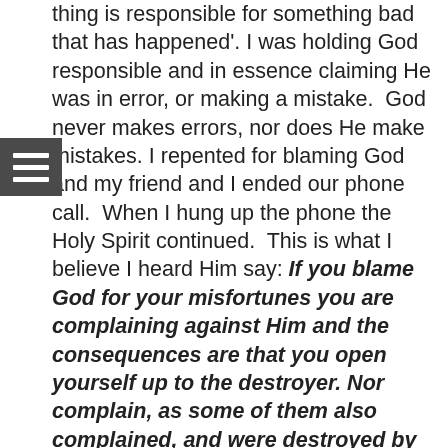thing is responsible for something bad that has happened'. I was holding God responsible and in essence claiming He was in error, or making a mistake. God never makes errors, nor does He make mistakes. I repented for blaming God and my friend and I ended our phone call. When I hung up the phone the Holy Spirit continued. This is what I believe I heard Him say: If you blame God for your misfortunes you are complaining against Him and the consequences are that you open yourself up to the destroyer. Nor complain, as some of them also complained, and were destroyed by the destroyer (1 Corinthians 10:10, NKJV). Although injustices and bad things may happen and God does not stop them you should never hold Him accountable by blaming Him. Your own healing has been prolonged because you have been complaining against God. Being disappointed in Me is the same as blaming Me. Being disappointed you are not healed is not the same as being disappointed in Me. When you first met Me you witnessed My power and knew I held the